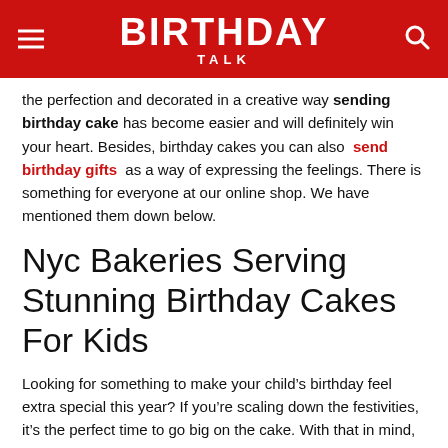BIRTHDAY TALK
the perfection and decorated in a creative way sending birthday cake has become easier and will definitely win your heart. Besides, birthday cakes you can also send birthday gifts as a way of expressing the feelings. There is something for everyone at our online shop. We have mentioned them down below.
Nyc Bakeries Serving Stunning Birthday Cakes For Kids
Looking for something to make your child’s birthday feel extra special this year? If you’re scaling down the festivities, it’s the perfect time to go big on the cake. With that in mind, weve scoured the five boroughs to find the New York City bakeries crafting the most mind-blowing confections.
These birthday cakes are scene-stealers in their own right and pair with whatever party you’ve got planned, from